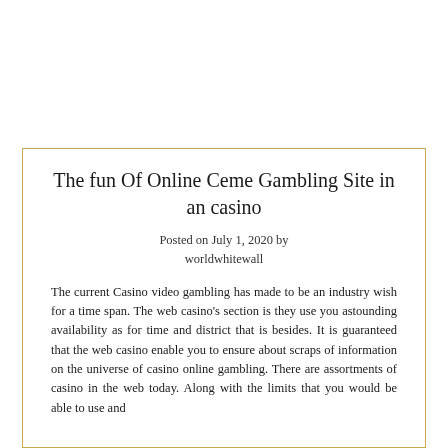The fun Of Online Ceme Gambling Site in an casino
Posted on July 1, 2020 by worldwhitewall
The current Casino video gambling has made to be an industry wish for a time span. The web casino's section is they use you astounding availability as for time and district that is besides. It is guaranteed that the web casino enable you to ensure about scraps of information on the universe of casino online gambling. There are assortments of casino in the web today. Along with the limits that you would be able to use and